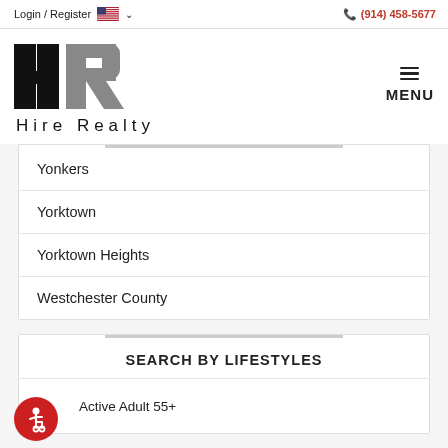Login / Register  (914) 458-5677
[Figure (logo): Hire Realty logo with HR initials graphic and 'Hire Realty' text below]
Yonkers
Yorktown
Yorktown Heights
Westchester County
SEARCH BY LIFESTYLES
Active Adult 55+